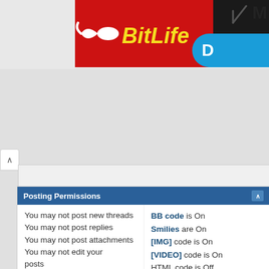[Figure (screenshot): BitLife app advertisement banner - red background with yellow italic BitLife logo text and sperm icon, with dark block and blue rounded tab partially visible on right]
[Figure (screenshot): Forum navigation area with chevron/caret icon and tab bar, showing a Page button on the right side]
« Previous Thread | N
| Posting Permissions |  |
| --- | --- |
| You may not post new threads | BB code is On |
| You may not post replies | Smilies are On |
| You may not post attachments | [IMG] code is On |
| You may not edit your posts | [VIDEO] code is On |
|  | HTML code is Off |
|  | Forum Rules |